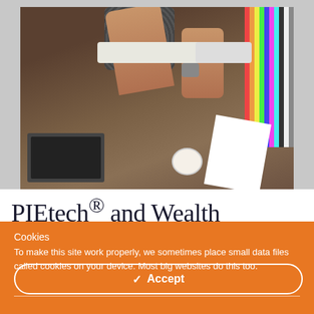[Figure (photo): Overhead view of a workplace desk with hands connecting cables to a power strip, a laptop, colorful binders, a notebook, and a coffee cup]
PIEtech® and Wealth
Cookies
To make this site work properly, we sometimes place small data files called cookies on your device. Most big websites do this too.
✓ Accept